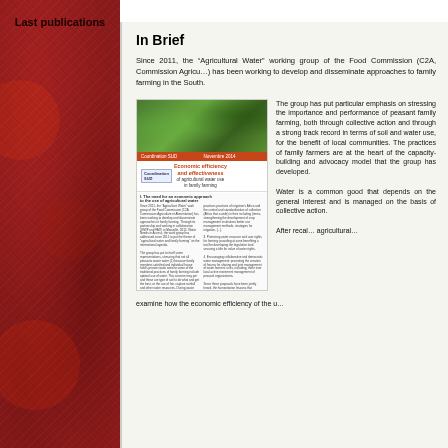Last publications
In Brief
Since 2011, the “Agricultural Water” working group of the Food Commission (C2A, Commission Agriculture et Alimentation) has been working to develop and disseminate approaches to family farming in the South.
[Figure (illustration): Cover image of a publication titled 'Economic efficiency and effectiveness of agricultural water use in family farming' showing a green landscape photo at top and document text below]
The group has put particular emphasis on stressing the importance and performance of peasant family farming, both through collective action and through a strong track record in terms of soil and water use, for the benefit of local communities. The practices of family farmers are at the heart of the capacity-building and advocacy model that the group has developed.
Water is a common good that depends on the general interest and is managed on the basis of collective action.
After recalling the main challenges around agricultural water use in family farming, to examine how the economic efficiency of the use